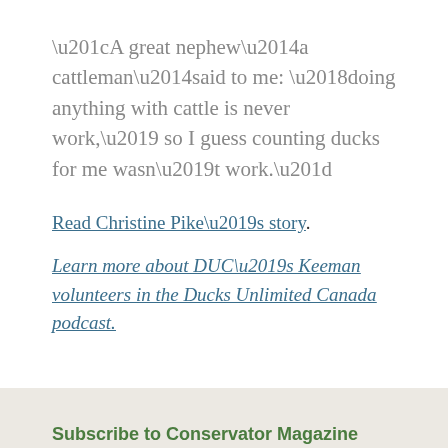“A great nephew—a cattleman—said to me: ‘doing anything with cattle is never work,’ so I guess counting ducks for me wasn’t work.”
Read Christine Pike’s story.
Learn more about DUC’s Keeman volunteers in the Ducks Unlimited Canada podcast.
Subscribe to Conservator Magazine
The pages of Conservator magazine are filled with beautiful photography and bio wildlife stories like this. I